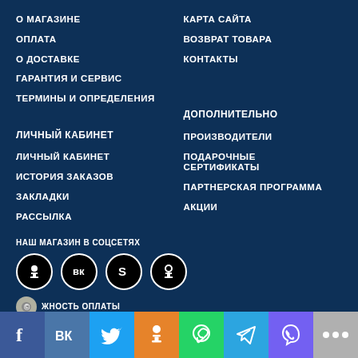О МАГАЗИНЕ
КАРТА САЙТА
ОПЛАТА
ВОЗВРАТ ТОВАРА
О ДОСТАВКЕ
КОНТАКТЫ
ГАРАНТИЯ И СЕРВИС
ТЕРМИНЫ И ОПРЕДЕЛЕНИЯ
ЛИЧНЫЙ КАБИНЕТ
ДОПОЛНИТЕЛЬНО
ЛИЧНЫЙ КАБИНЕТ
ПРОИЗВОДИТЕЛИ
ИСТОРИЯ ЗАКАЗОВ
ПОДАРОЧНЫЕ СЕРТИФИКАТЫ
ЗАКЛАДКИ
ПАРТНЕРСКАЯ ПРОГРАММА
РАССЫЛКА
АКЦИИ
НАШ МАГАЗИН В СОЦСЕТЯХ
[Figure (infographic): Social media icons: Odnoklassniki, VK, Skype, Odnoklassniki (round black circles with white icons)]
ВОЗМОЖНОСТЬ ОПЛАТЫ
[Figure (infographic): Bottom social bar with Facebook, VK, Twitter, Odnoklassniki, WhatsApp, Telegram, Viber, and more icons]